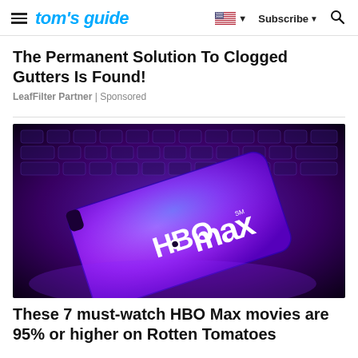tom's guide | Subscribe | Search
The Permanent Solution To Clogged Gutters Is Found!
LeafFilter Partner | Sponsored
[Figure (photo): A smartphone displaying the HBO Max logo lying on a keyboard, with purple/blue lighting]
These 7 must-watch HBO Max movies are 95% or higher on Rotten Tomatoes